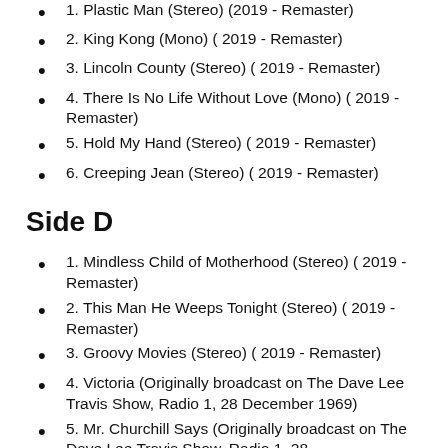1. Plastic Man (Stereo) (2019 - Remaster)
2. King Kong (Mono) ( 2019 - Remaster)
3. Lincoln County (Stereo) ( 2019 - Remaster)
4. There Is No Life Without Love (Mono) ( 2019 - Remaster)
5. Hold My Hand (Stereo) ( 2019 - Remaster)
6. Creeping Jean (Stereo) ( 2019 - Remaster)
Side D
1. Mindless Child of Motherhood (Stereo) ( 2019 - Remaster)
2. This Man He Weeps Tonight (Stereo) ( 2019 - Remaster)
3. Groovy Movies (Stereo) ( 2019 - Remaster)
4. Victoria (Originally broadcast on The Dave Lee Travis Show, Radio 1, 28 December 1969)
5. Mr. Churchill Says (Originally broadcast on The Dave Lee Travis Show, Radio 1, 28